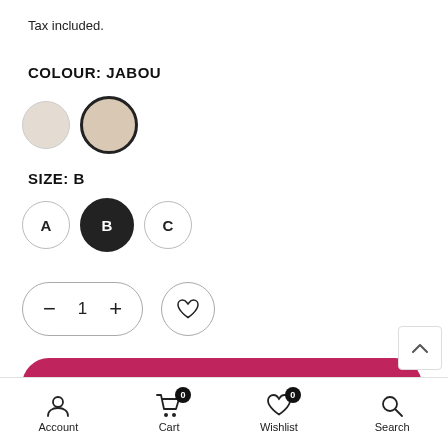Tax included.
COLOUR: JABOU
[Figure (other): Two circular colour swatches: light grey/beige unselected, and slightly darker beige selected with dark border (JABOU)]
SIZE: B
[Figure (other): Three circular size buttons labeled A, B, C. B is selected (dark/filled). A and C are unselected.]
[Figure (other): Quantity control with minus, 1, plus inside a rounded pill border. Wishlist heart icon circle button.]
ADD TO CART
Size Guide
Account  Cart 0  Wishlist 0  Search